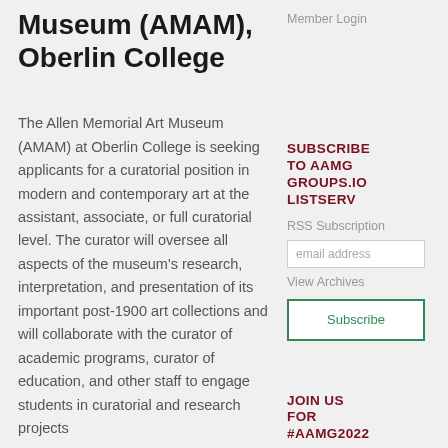Museum (AMAM), Oberlin College
Member Login
SUBSCRIBE TO AAMG GROUPS.IO LISTSERV
RSS Subscription
email address
View Archives
Subscribe
The Allen Memorial Art Museum (AMAM) at Oberlin College is seeking applicants for a curatorial position in modern and contemporary art at the assistant, associate, or full curatorial level. The curator will oversee all aspects of the museum's research, interpretation, and presentation of its important post-1900 art collections and will collaborate with the curator of academic programs, curator of education, and other staff to engage students in curatorial and research projects
JOIN US FOR #AAMG2022